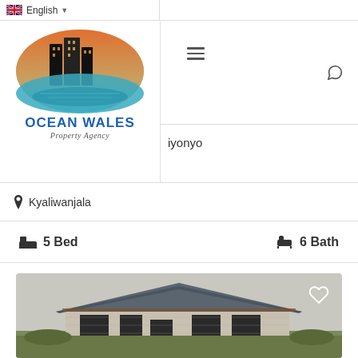English (language selector)
[Figure (logo): Ocean Wales Property Agency logo with sunset cityscape and water reflection]
iyonyo
Kyaliwanjala
5 Bed   6 Bath
[Figure (photo): Unfinished single-story house with grey hip roof, white/grey brick walls, open window and door frames, surrounded by scrubland. Heart/favorite icon in top right corner.]